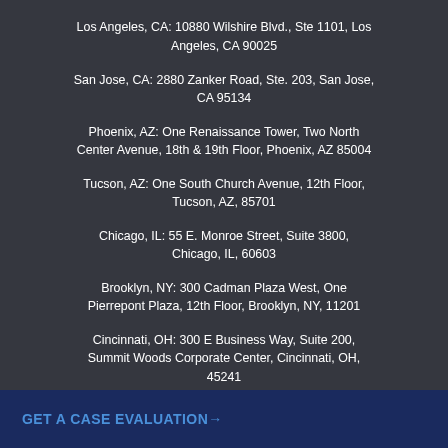Los Angeles, CA: 10880 Wilshire Blvd., Ste 1101, Los Angeles, CA 90025
San Jose, CA: 2880 Zanker Road, Ste. 203, San Jose, CA 95134
Phoenix, AZ: One Renaissance Tower, Two North Center Avenue, 18th & 19th Floor, Phoenix, AZ 85004
Tucson, AZ: One South Church Avenue, 12th Floor, Tucson, AZ, 85701
Chicago, IL: 55 E. Monroe Street, Suite 3800, Chicago, IL, 60603
Brooklyn, NY: 300 Cadman Plaza West, One Pierrepont Plaza, 12th Floor, Brooklyn, NY, 11201
Cincinnati, OH: 300 E Business Way, Suite 200, Summit Woods Corporate Center, Cincinnati, OH, 45241
GET A CASE EVALUATION→